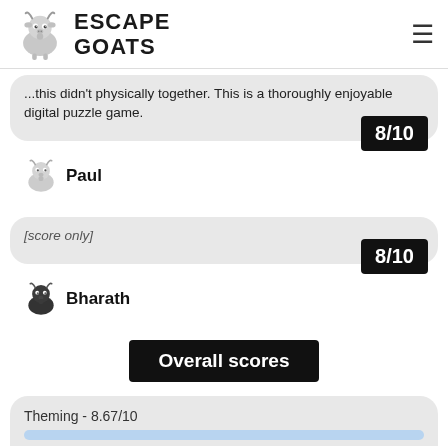ESCAPE GOATS
...this didn't physically together. This is a thoroughly enjoyable digital puzzle game.
8/10
Paul
[score only]
8/10
Bharath
Overall scores
Theming - 8.67/10